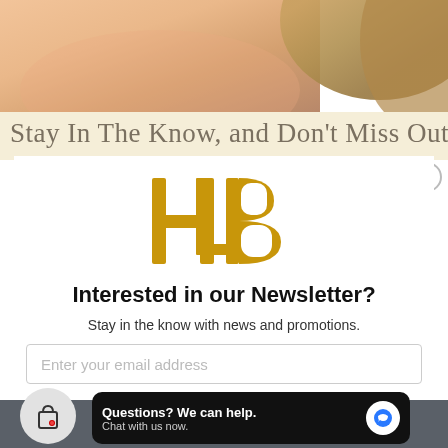[Figure (photo): Close-up of a person's face/cheek with blonde hair, warm skin tones]
Stay In The Know, and Don't Miss Out
[Figure (logo): HB monogram logo in gold, stylized interlocking letters H, L, B]
Interested in our Newsletter?
Stay in the know with news and promotions.
Enter your email address
Questions? We can help. Chat with us now.